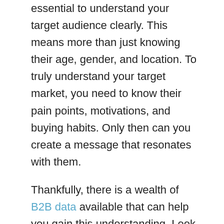essential to understand your target audience clearly. This means more than just knowing their age, gender, and location. To truly understand your target market, you need to know their pain points, motivations, and buying habits. Only then can you create a message that resonates with them.
Thankfully, there is a wealth of B2B data available that can help you gain this understanding. Look for surveys and studies that have been conducted on your target market and use this information to create buyer personas. Once you have a solid understanding of your audience, you can start planning your marketing campaigns confidently.
Use B2B data to create custom